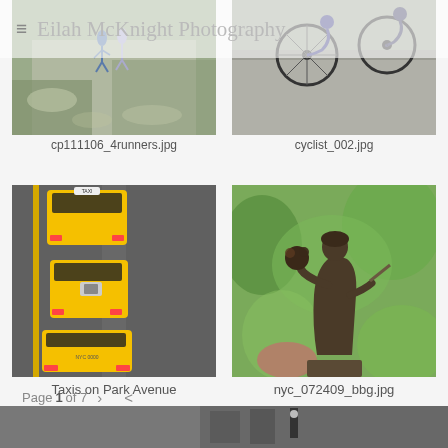≡ Eilah McKnight Photography
[Figure (photo): Aerial view of runners on a path, partially cropped at top]
cp111106_4runners.jpg
[Figure (photo): Aerial view of cyclists on a road, partially cropped at top]
cyclist_002.jpg
[Figure (photo): Overhead view of yellow taxis on Park Avenue]
Taxis on Park Avenue
[Figure (photo): Bronze statue of a woman holding flowers, with green foliage background]
nyc_072409_bbg.jpg
Page 1 of 7  >  <